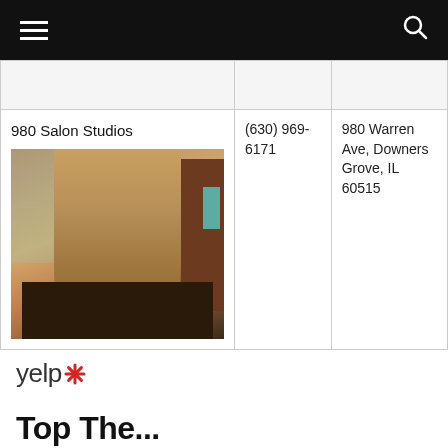Navigation bar with hamburger menu and search icon
|  |  |  |
| --- | --- | --- |
|  |  |  |
| 980 Salon Studios
[photo of salon] | (630) 969-6171 | 980 Warren Ave, Downers Grove, IL 60515 |
[Figure (logo): Yelp logo with red burst/asterisk icon]
Top The...